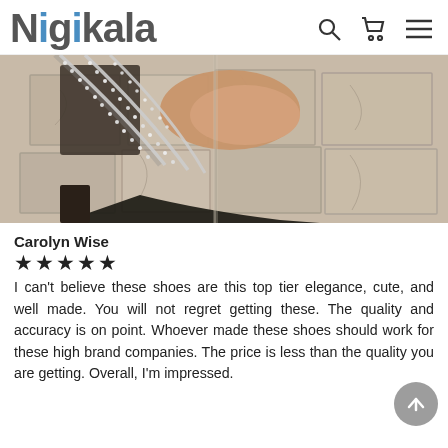Nigikala
[Figure (photo): Close-up photo of rhinestone-studded shoe straps on a stone tile floor, showing feet wearing decorative sandals with sparkling chain/crystal straps against a textured gray stone tile background.]
Carolyn Wise
★★★★★
I can't believe these shoes are this top tier elegance, cute, and well made. You will not regret getting these. The quality and accuracy is on point. Whoever made these shoes should work for these high brand companies. The price is less than the quality you are getting. Overall, I'm impressed.